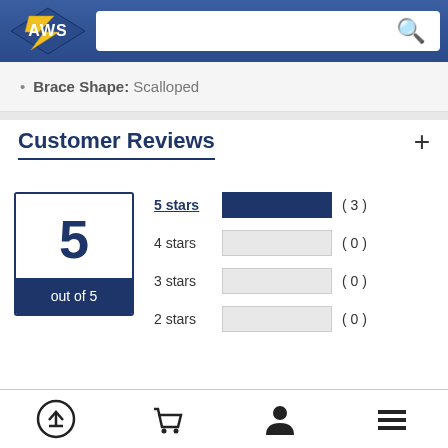AWS logo and search bar
Brace Shape: Scalloped
Customer Reviews
[Figure (bar-chart): Star rating breakdown: 5 out of 5. 5 stars: 3 reviews, 4 stars: 0, 3 stars: 0, 2 stars: 0]